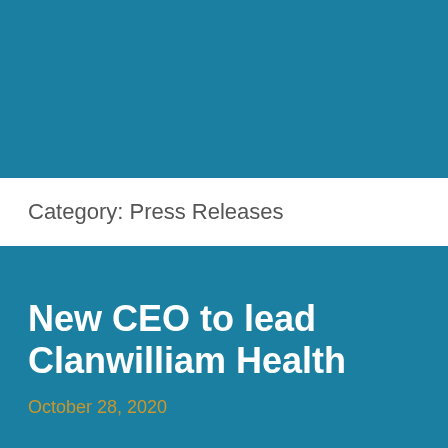Category: Press Releases
New CEO to lead Clanwilliam Health
October 28, 2020